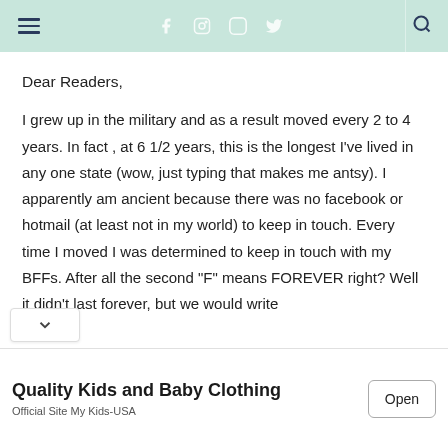Navigation bar with hamburger menu, social icons (facebook, instagram, pinterest, twitter), and search icon
Dear Readers,
I grew up in the military and as a result moved every 2 to 4 years. In fact , at 6 1/2 years, this is the longest I've lived in any one state (wow, just typing that makes me antsy). I apparently am ancient because there was no facebook or hotmail (at least not in my world) to keep in touch. Every time I moved I was determined to keep in touch with my BFFs. After all the second "F" means FOREVER right? Well it didn't last forever, but we would write
[Figure (other): Advertisement banner: Quality Kids and Baby Clothing - Official Site My Kids-USA with Open button]